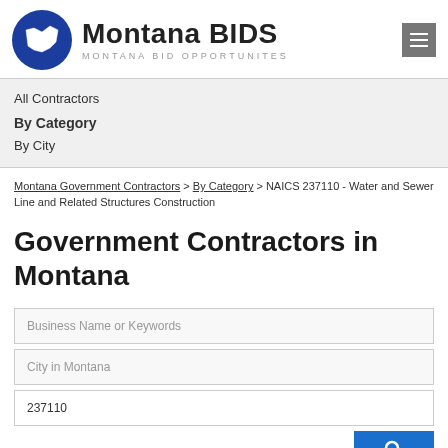[Figure (logo): Montana BIDS logo — blue circle with white outline of Montana state, beside large text 'Montana BIDS' and subtitle 'MONTANA BID OPPORTUNITES']
All Contractors
By Category
By City
Montana Government Contractors > By Category > NAICS 237110 - Water and Sewer Line and Related Structures Construction
Government Contractors in Montana
Business Name or Keywords
City in Montana
237110